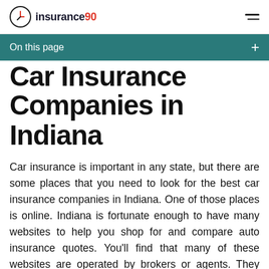insurance90
On this page
Car Insurance Companies in Indiana
Car insurance is important in any state, but there are some places that you need to look for the best car insurance companies in Indiana. One of those places is online. Indiana is fortunate enough to have many websites to help you shop for and compare auto insurance quotes. You'll find that many of these websites are operated by brokers or agents. They work for different